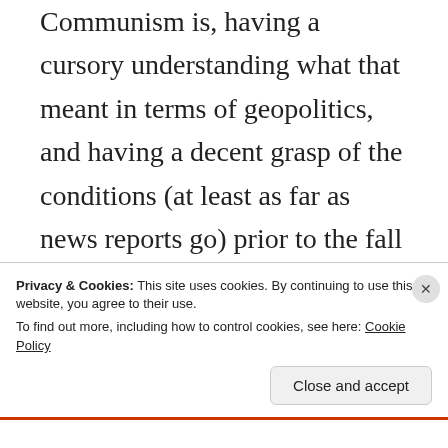Communism is, having a cursory understanding what that meant in terms of geopolitics, and having a decent grasp of the conditions (at least as far as news reports go) prior to the fall of Communism. For some reason people
Privacy & Cookies: This site uses cookies. By continuing to use this website, you agree to their use.
To find out more, including how to control cookies, see here: Cookie Policy
Close and accept